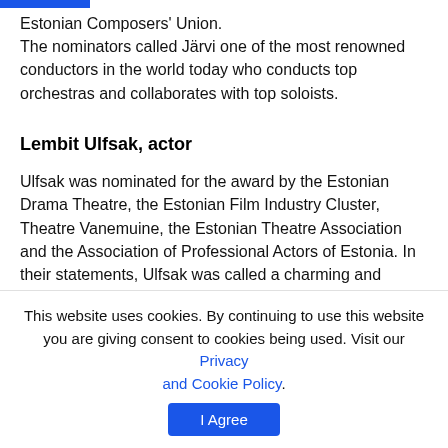Estonian Composers' Union.
The nominators called Järvi one of the most renowned conductors in the world today who conducts top orchestras and collaborates with top soloists.
Lembit Ulfsak, actor
Ulfsak was nominated for the award by the Estonian Drama Theatre, the Estonian Film Industry Cluster, Theatre Vanemuine, the Estonian Theatre Association and the Association of Professional Actors of Estonia. In their statements, Ulfsak was called a charming and charismatic actor whose roles — from Ukuaru Aksel to the leading role
This website uses cookies. By continuing to use this website you are giving consent to cookies being used. Visit our Privacy and Cookie Policy.